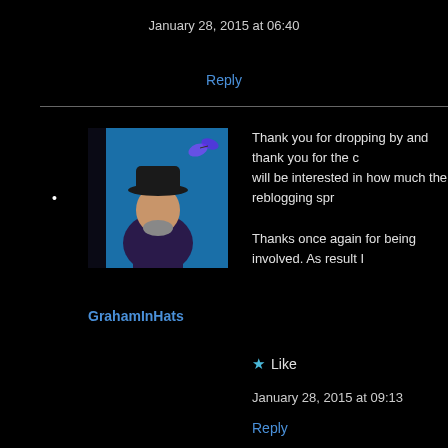January 28, 2015 at 06:40
Reply
[Figure (photo): Avatar photo of a man wearing a dark hat, on a blue background with a small butterfly graphic]
Thank you for dropping by and thank you for the c... will be interested in how much the reblogging spr...

Thanks once again for being involved. As result I...
GrahamInHats
★ Like
January 28, 2015 at 09:13
Reply
[Figure (illustration): Colorful folk art image of a hand with spiral and geometric patterns on dark background]
I'm writing a post with a link to yours right now...